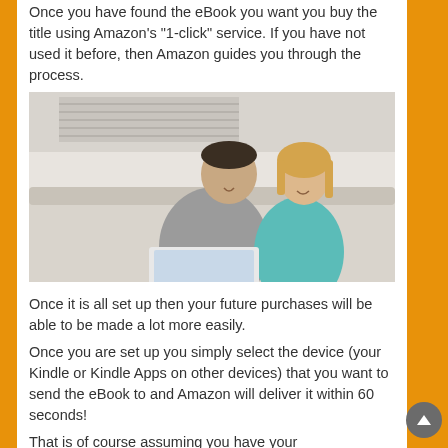Once you have found the eBook you want you buy the title using Amazon's "1-click" service. If you have not used it before, then Amazon guides you through the process.
[Figure (photo): A couple sitting on a couch together, a man and woman, both looking at a laptop computer. The woman is leaning against the man's shoulder and both are smiling.]
Once it is all set up then your future purchases will be able to be made a lot more easily.
Once you are set up you simply select the device (your Kindle or Kindle Apps on other devices) that you want to send the eBook to and Amazon will deliver it within 60 seconds!
That is of course assuming you have your